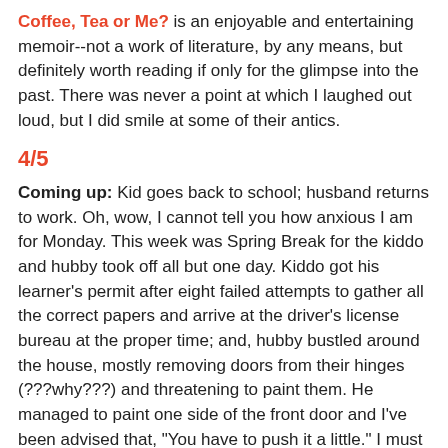Coffee, Tea or Me? is an enjoyable and entertaining memoir--not a work of literature, by any means, but definitely worth reading if only for the glimpse into the past. There was never a point at which I laughed out loud, but I did smile at some of their antics.
4/5
Coming up: Kid goes back to school; husband returns to work. Oh, wow, I cannot tell you how anxious I am for Monday. This week was Spring Break for the kiddo and hubby took off all but one day. Kiddo got his learner's permit after eight failed attempts to gather all the correct papers and arrive at the driver's license bureau at the proper time; and, hubby bustled around the house, mostly removing doors from their hinges (???why???) and threatening to paint them. He managed to paint one side of the front door and I've been advised that, "You have to push it a little." I must have given him a really funny look because he defended the door. "It's not the door, it's the weather stripping," says he.
And, of course, there was that deal with our beloved kitty cat.